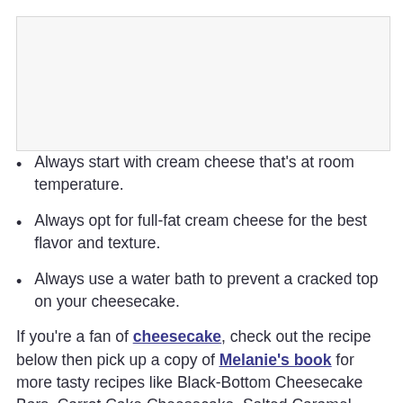[Figure (photo): Image placeholder area, light gray background]
Always start with cream cheese that's at room temperature.
Always opt for full-fat cream cheese for the best flavor and texture.
Always use a water bath to prevent a cracked top on your cheesecake.
If you're a fan of cheesecake, check out the recipe below then pick up a copy of Melanie's book for more tasty recipes like Black-Bottom Cheesecake Bars, Carrot Cake Cheesecake, Salted Caramel